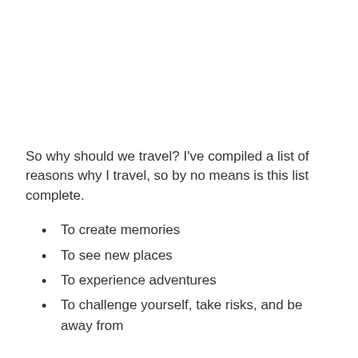So why should we travel? I've compiled a list of reasons why I travel, so by no means is this list complete.
To create memories
To see new places
To experience adventures
To challenge yourself, take risks, and be away from